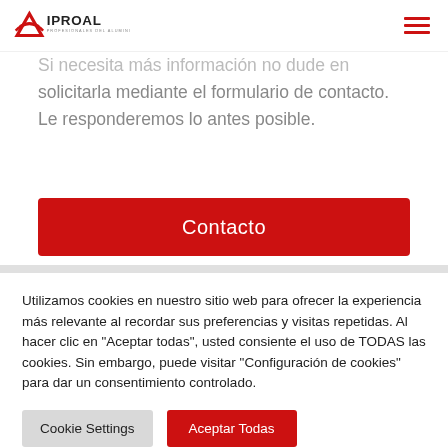IPROAL - Profesionales del Aluminio
Si necesita más información no dude en solicitarla mediante el formulario de contacto. Le responderemos lo antes posible.
Contacto
Utilizamos cookies en nuestro sitio web para ofrecer la experiencia más relevante al recordar sus preferencias y visitas repetidas. Al hacer clic en "Aceptar todas", usted consiente el uso de TODAS las cookies. Sin embargo, puede visitar "Configuración de cookies" para dar un consentimiento controlado.
Cookie Settings
Aceptar Todas